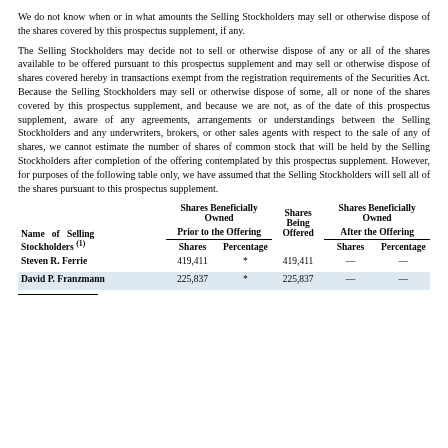We do not know when or in what amounts the Selling Stockholders may sell or otherwise dispose of the shares covered by this prospectus supplement, if any.
The Selling Stockholders may decide not to sell or otherwise dispose of any or all of the shares available to be offered pursuant to this prospectus supplement and may sell or otherwise dispose of shares covered hereby in transactions exempt from the registration requirements of the Securities Act. Because the Selling Stockholders may sell or otherwise dispose of some, all or none of the shares covered by this prospectus supplement, and because we are not, as of the date of this prospectus supplement, aware of any agreements, arrangements or understandings between the Selling Stockholders and any underwriters, brokers, or other sales agents with respect to the sale of any of shares, we cannot estimate the number of shares of common stock that will be held by the Selling Stockholders after completion of the offering contemplated by this prospectus supplement. However, for purposes of the following table only, we have assumed that the Selling Stockholders will sell all of the shares pursuant to this prospectus supplement.
| Name of Selling Stockholders (1) | Shares Beneficially Owned Prior to the Offering — Shares | Shares Beneficially Owned Prior to the Offering — Percentage | Shares Being Offered | Shares Beneficially Owned After the Offering — Shares | Shares Beneficially Owned After the Offering — Percentage |
| --- | --- | --- | --- | --- | --- |
| Steven R. Ferrie | 419,411 | * | 419,411 | — | — |
| David P. Franzmann | 225,837 | * | 225,837 | — | — |